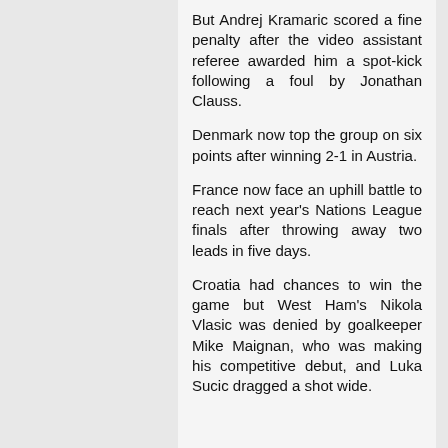But Andrej Kramaric scored a fine penalty after the video assistant referee awarded him a spot-kick following a foul by Jonathan Clauss.
Denmark now top the group on six points after winning 2-1 in Austria.
France now face an uphill battle to reach next year's Nations League finals after throwing away two leads in five days.
Croatia had chances to win the game but West Ham's Nikola Vlasic was denied by goalkeeper Mike Maignan, who was making his competitive debut, and Luka Sucic dragged a shot wide.